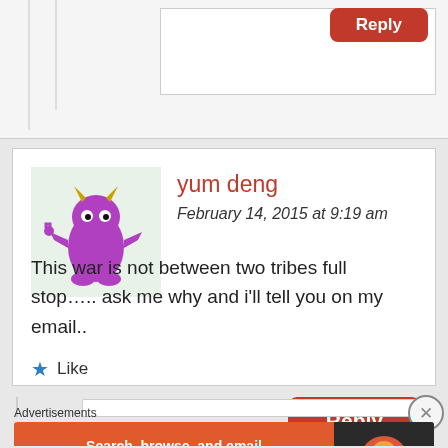[Figure (screenshot): Partial comment box from previous comment with Reply button at top right]
yum deng
February 14, 2015 at 9:19 am
[Figure (illustration): Purple cartoon monster avatar with yellow horns]
This war is not between two tribes full stop….. ask me why and i'll tell you on my email..
Like
Reply
Advertisements
[Figure (screenshot): DuckDuckGo advertisement banner: Search, browse, and email with more privacy. All in One Free App]